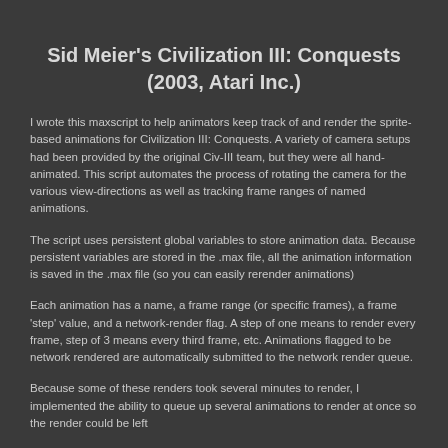Sid Meier's Civilization III: Conquests (2003, Atari Inc.)
I wrote this maxscript to help animators keep track of and render the sprite-based animations for Civilization III: Conquests. A variety of camera setups had been provided by the original Civ-III team, but they were all hand-animated. This script automates the process of rotating the camera for the various view-directions as well as tracking frame ranges of named animations.
The script uses persistent global variables to store animation data. Because persistent variables are stored in the .max file, all the animation information is saved in the .max file (so you can easily rerender animations)
Each animation has a name, a frame range (or specific frames), a frame 'step' value, and a network-render flag. A step of one means to render every frame, step of 3 means every third frame, etc. Animations flagged to be network rendered are automatically submitted to the network render queue.
Because some of these renders took several minutes to render, I implemented the ability to queue up several animations to render at once so the render could be left...